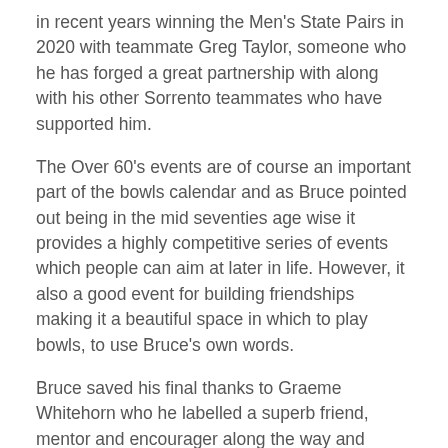in recent years winning the Men's State Pairs in 2020 with teammate Greg Taylor, someone who he has forged a great partnership with along with his other Sorrento teammates who have supported him.
The Over 60's events are of course an important part of the bowls calendar and as Bruce pointed out being in the mid seventies age wise it provides a highly competitive series of events which people can aim at later in life. However, it also a good event for building friendships making it a beautiful space in which to play bowls, to use Bruce's own words.
Bruce saved his final thanks to Graeme Whitehorn who he labelled a superb friend, mentor and encourager along the way and someone instrumental to his development as a player from when he started at Sorrento Bowling Club just over a decade ago.
Congratulations once again to Bruce Eagles on a fantastic season and the Trevor Barron Award winner as the most